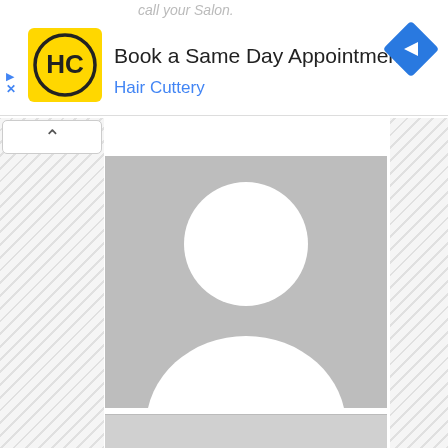[Figure (screenshot): Mobile advertisement banner for Hair Cuttery showing logo, 'Book a Same Day Appointment' text, Hair Cuttery subtitle in blue, navigation icon (blue diamond with arrow), and ad controls (play and close buttons)]
[Figure (photo): Default placeholder profile image on gray background showing a white silhouette of a person (head circle and shoulder arc)]
[Figure (screenshot): Partially visible bottom gray content area]